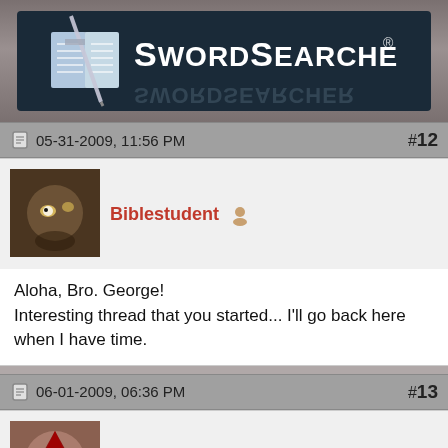[Figure (logo): SwordSearcher logo with open book and sword on dark background]
05-31-2009, 11:56 PM  #12
[Figure (photo): Avatar image of keys on a table]
Biblestudent
Aloha, Bro. George!
Interesting thread that you started... I'll go back here when I have time.
06-01-2009, 06:36 PM  #13
[Figure (photo): Avatar image of a masked figure]
chette777
Praying for your illness to heal George.